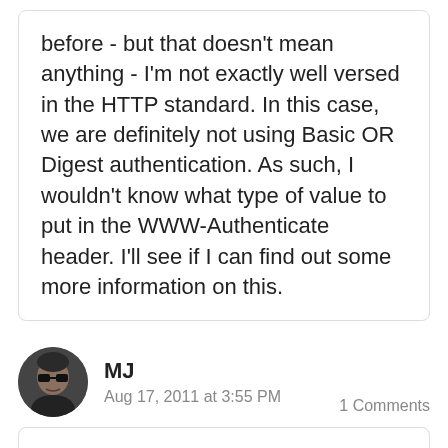before - but that doesn't mean anything - I'm not exactly well versed in the HTTP standard. In this case, we are definitely not using Basic OR Digest authentication. As such, I wouldn't know what type of value to put in the WWW-Authenticate header. I'll see if I can find out some more information on this.
MJ
Aug 17, 2011 at 3:55 PM
1 Comments
How do I capture the url that returned 401. I am making a cross domain calls different